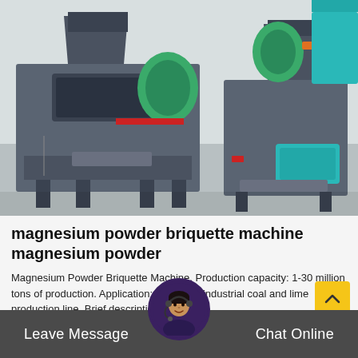[Figure (photo): Industrial briquette machines (magnesium powder briquette machines) in a factory floor setting. Large grey metal machines with green hoppers and conveyors visible.]
magnesium powder briquette machine magnesium powder
Magnesium Powder Briquette Machine. Production capacity: 1-30 million tons of production. Application: Civil coal, industrial coal and lime production line. Brief description:...
Leave Message   Chat Online